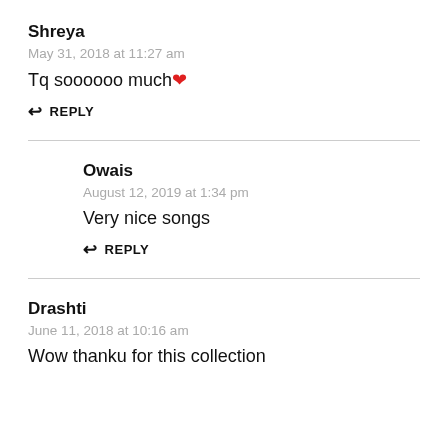Shreya
May 31, 2018 at 11:27 am
Tq soooooo much ❤
↩ REPLY
Owais
August 12, 2019 at 1:34 pm
Very nice songs
↩ REPLY
Drashti
June 11, 2018 at 10:16 am
Wow thanku for this collection